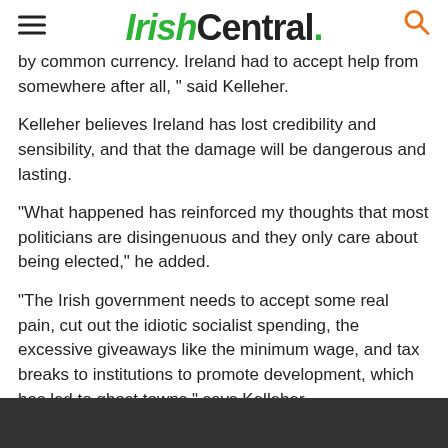IrishCentral.
by common currency. Ireland had to accept help from somewhere after all, ” said Kelleher.
Kelleher believes Ireland has lost credibility and sensibility, and that the damage will be dangerous and lasting.
“What happened has reinforced my thoughts that most politicians are disingenuous and they only care about being elected,” he added.
“The Irish government needs to accept some real pain, cut out the idiotic socialist spending, the excessive giveaways like the minimum wage, and tax breaks to institutions to promote development, which has led to ghost towns,” says Kelleher.
"The bankers wo…r s…y n h…stem,” added